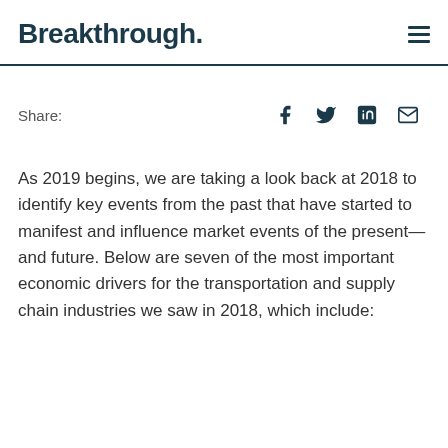Breakthrough.
Share:
As 2019 begins, we are taking a look back at 2018 to identify key events from the past that have started to manifest and influence market events of the present—and future. Below are seven of the most important economic drivers for the transportation and supply chain industries we saw in 2018, which include: